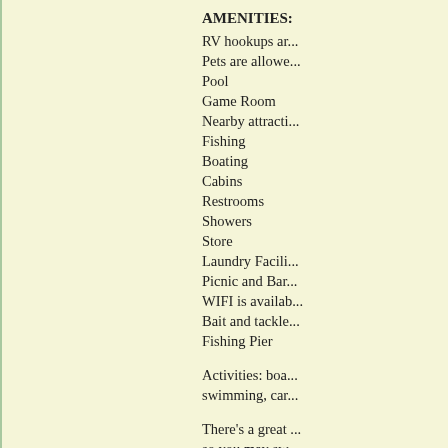AMENITIES:
RV hookups ar...
Pets are allowe...
Pool
Game Room
Nearby attracti...
Fishing
Boating
Cabins
Restrooms
Showers
Store
Laundry Facili...
Picnic and Bar...
WIFI is availab...
Bait and tackle...
Fishing Pier
Activities: boa... swimming, car...
There's a great ... so you may sw... hat in view of t...